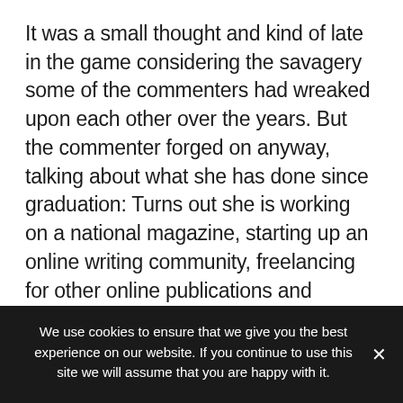It was a small thought and kind of late in the game considering the savagery some of the commenters had wreaked upon each other over the years. But the commenter forged on anyway, talking about what she has done since graduation: Turns out she is working on a national magazine, starting up an online writing community, freelancing for other online publications and considering a return to teaching. Nothing earthshaking, perhaps, but interesting and admirable nonetheless. She seemed happy, and not in a superior way.
We use cookies to ensure that we give you the best experience on our website. If you continue to use this site we will assume that you are happy with it.